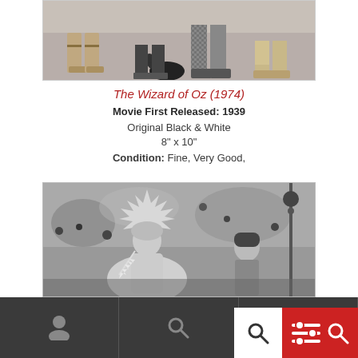[Figure (photo): Black and white photograph showing the feet and lower legs of multiple characters from The Wizard of Oz, including a small black dog (Toto).]
The Wizard of Oz (1974)
Movie First Released: 1939
Original Black & White
8" x 10"
Condition: Fine, Very Good,
[Figure (photo): Black and white photograph from The Wizard of Oz showing Glinda the Good Witch wearing a crown and Dorothy.]
Navigation bar with person icon, search icon, filter icon, and search icon